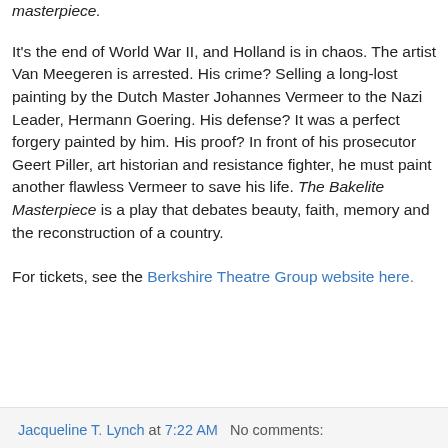masterpiece. It's the end of World War II, and Holland is in chaos. The artist Van Meegeren is arrested. His crime? Selling a long-lost painting by the Dutch Master Johannes Vermeer to the Nazi Leader, Hermann Goering. His defense? It was a perfect forgery painted by him. His proof? In front of his prosecutor Geert Piller, art historian and resistance fighter, he must paint another flawless Vermeer to save his life. The Bakelite Masterpiece is a play that debates beauty, faith, memory and the reconstruction of a country.
For tickets, see the Berkshire Theatre Group website here.
Jacqueline T. Lynch at 7:22 AM   No comments: